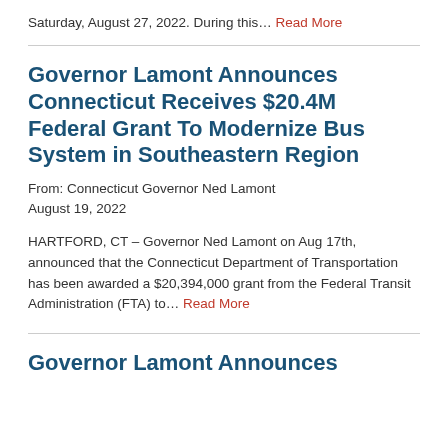Saturday, August 27, 2022. During this… Read More
Governor Lamont Announces Connecticut Receives $20.4M Federal Grant To Modernize Bus System in Southeastern Region
From: Connecticut Governor Ned Lamont
August 19, 2022
HARTFORD, CT – Governor Ned Lamont on Aug 17th, announced that the Connecticut Department of Transportation has been awarded a $20,394,000 grant from the Federal Transit Administration (FTA) to… Read More
Governor Lamont Announces